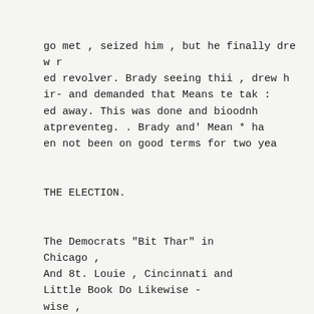go met , seized him , but he finally drew r
ed revolver. Brady seeing thii , drew hir- and demanded that Means te tak :
ed away. This was done and bioodnh atpreventeg. . Brady and' Mean * ha en not been on good terms for two yea
THE ELECTION.
The Democrats "Bit Thar" in Chicago ,
And 8t. Louie , Cincinnati and Little Book Do Likewise -wise ,
CHICAGO.
UmoAao , 'April 3. An oleotloa was hold Hero to day tor oily and town ship oilicora nnd members of olty couccll . Tjoro were but two goucral city tickets , ono straight dem ocratic . bonded by Garter 11. Ilarrl-